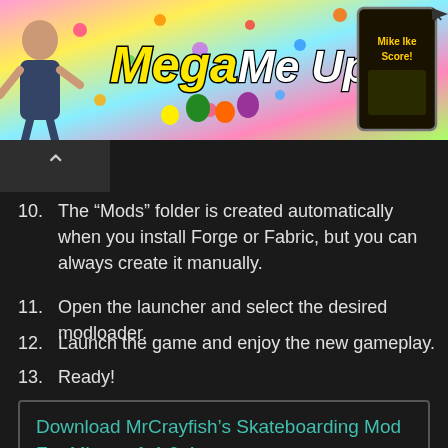[Figure (photo): Colorful advertisement banner for 'Mega Me Up!' mobile game with yellow and white stylized text on a candy-colored background, showing a person on the left and a phone on the right. Play button and close (X) icons in the top-right corner.]
10. The “Mods” folder is created automatically when you install Forge or Fabric, but you can always create it manually.
11. Open the launcher and select the desired modloader.
12. Launch the game and enjoy the new gameplay.
13. Ready!
Download MrCrayfish’s Skateboarding Mod For Minecraft 1.9.4